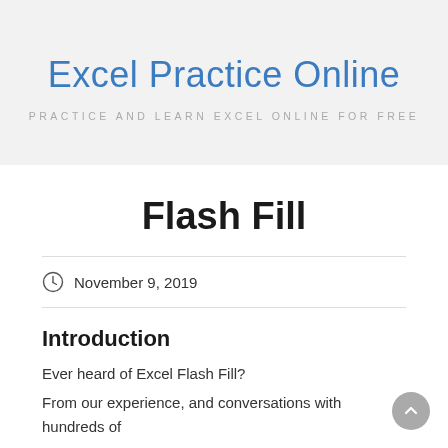Excel Practice Online
PRACTICE AND LEARN EXCEL ONLINE FOR FREE
Flash Fill
November 9, 2019
Introduction
Ever heard of Excel Flash Fill?
From our experience, and conversations with hundreds of